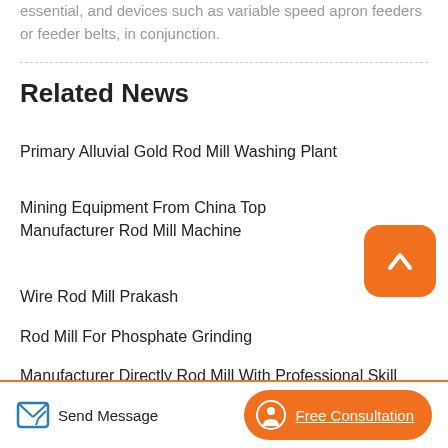essential, and devices such as variable speed apron feeders or feeder belts, in conjunction.
Related News
Primary Alluvial Gold Rod Mill Washing Plant
Mining Equipment From China Top Manufacturer Rod Mill Machine
Wire Rod Mill Prakash
Rod Mill For Phosphate Grinding
Manufacturer Directly Rod Mill With Professional Skill
Send Message   Free Consultation